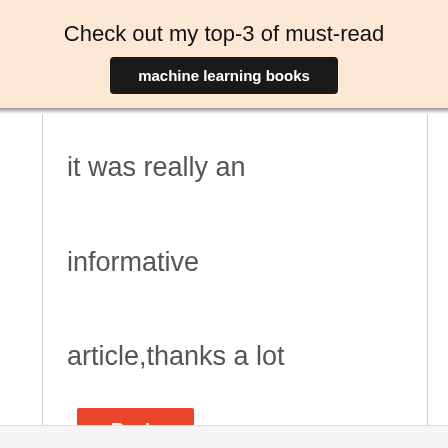Check out my top-3 of must-read
machine learning books
it was really an informative article,thanks a lot
Reply